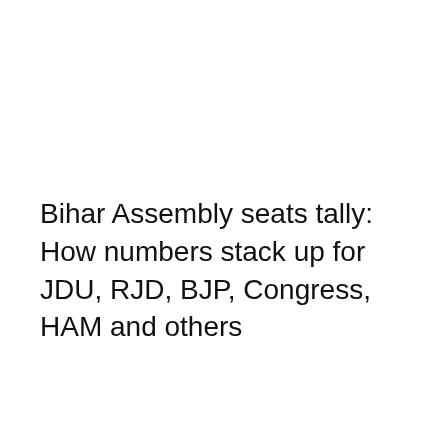Bihar Assembly seats tally: How numbers stack up for JDU, RJD, BJP, Congress, HAM and others